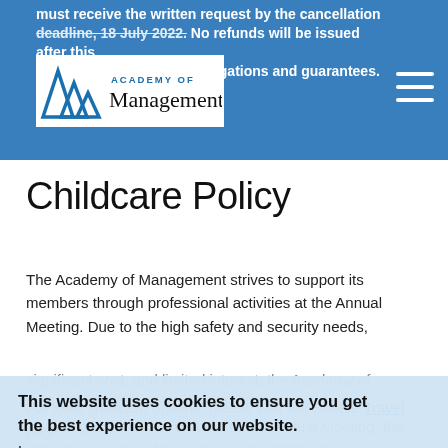must receive the written request by the cancellation deadline, 18 July 2022. No refunds will be issued after this date due to contractual obligations and guarantees.
Childcare Policy
The Academy of Management strives to support its members through professional activities at the Annual Meeting. Due to the high safety and security needs, significant cost, and limited interest, the Academy of Management does not provide childcare services. If attending children are brought to the Annual Meeting, the attendee is required to make on-site childcare accommodations.
For local childcare options, please visit our Seattle Travel page.
This website uses cookies to ensure you get the best experience on our website. Learn more Got it!